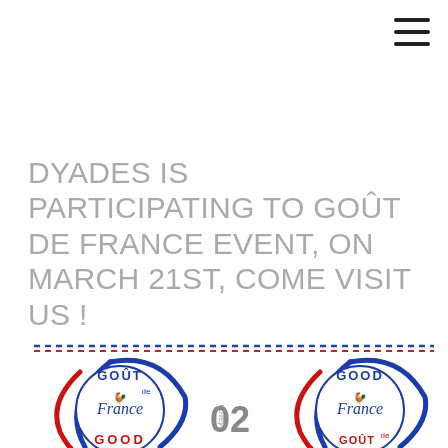[Figure (other): Hamburger menu icon (three horizontal black lines) in top right corner]
DYADES IS PARTICIPATING TO GOÛT DE FRANCE EVENT, ON MARCH 21ST, COME VISIT US !
[Figure (logo): Goût de France / Good France event logo showing two circular stamp-style badges with French tricolor swirl design, text reads GOÛT de France GOOD and GOOD France GOÛT DE, with March 02 2016 date in center]